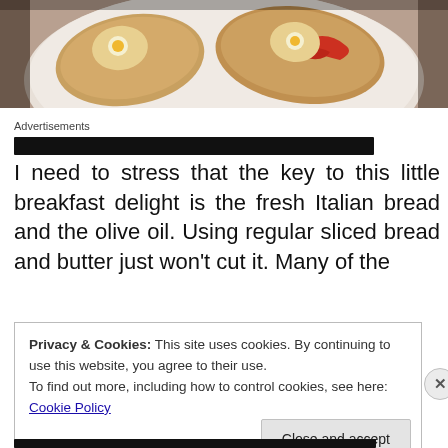[Figure (photo): Overhead photo of toasted Italian bread slices on a white plate, with eggs and what appears to be bacon or roasted red peppers visible on top of the bread.]
Advertisements
I need to stress that the key to this little breakfast delight is the fresh Italian bread and the olive oil. Using regular sliced bread and butter just won't cut it. Many of the
Privacy & Cookies: This site uses cookies. By continuing to use this website, you agree to their use.
To find out more, including how to control cookies, see here: Cookie Policy
Close and accept